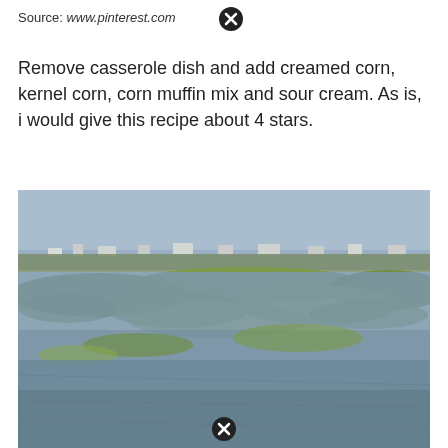Source: www.pinterest.com
[Figure (photo): Aerial or elevated view of a coastal wetland or marsh landscape with green vegetation patches and calm water, with a distant shoreline and buildings visible on the horizon under a hazy sky.]
Remove casserole dish and add creamed corn, kernel corn, corn muffin mix and sour cream. As is, i would give this recipe about 4 stars.